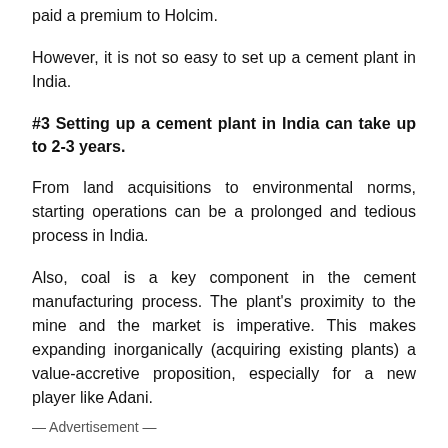paid a premium to Holcim.
However, it is not so easy to set up a cement plant in India.
#3 Setting up a cement plant in India can take up to 2-3 years.
From land acquisitions to environmental norms, starting operations can be a prolonged and tedious process in India.
Also, coal is a key component in the cement manufacturing process. The plant's proximity to the mine and the market is imperative. This makes expanding inorganically (acquiring existing plants) a value-accretive proposition, especially for a new player like Adani.
— Advertisement —